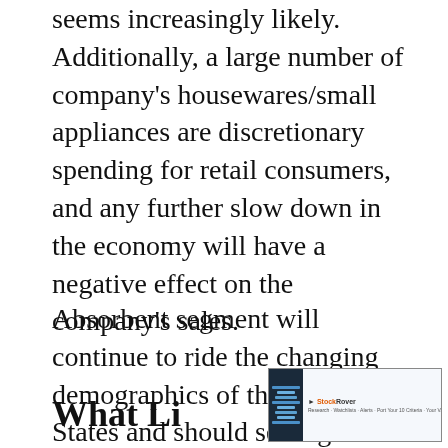seems increasingly likely. Additionally, a large number of company's housewares/small appliances are discretionary spending for retail consumers, and any further slow down in the economy will have a negative effect on the company's sales.
Absorbent segment will continue to ride the changing demographics of the United States and should see a growth as more and more people age and demand for adult diapers rise.
[Figure (screenshot): A screenshot of a financial data table or chart from StockRover, showing tabular data with a dark left panel and StockRover branding on the right.]
What Li